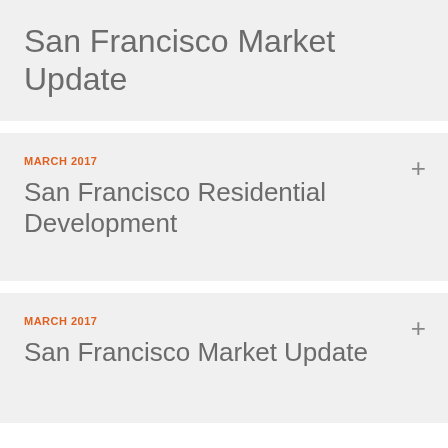San Francisco Market Update
MARCH 2017
San Francisco Residential Development
MARCH 2017
San Francisco Market Update